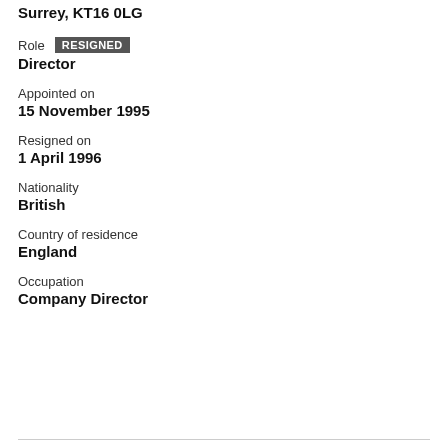Surrey, KT16 0LG
Role RESIGNED
Director
Appointed on
15 November 1995
Resigned on
1 April 1996
Nationality
British
Country of residence
England
Occupation
Company Director